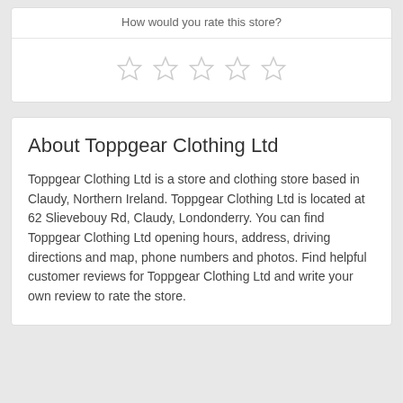How would you rate this store?
[Figure (other): Five empty star rating icons in a row]
About Toppgear Clothing Ltd
Toppgear Clothing Ltd is a store and clothing store based in Claudy, Northern Ireland. Toppgear Clothing Ltd is located at 62 Slievebouy Rd, Claudy, Londonderry. You can find Toppgear Clothing Ltd opening hours, address, driving directions and map, phone numbers and photos. Find helpful customer reviews for Toppgear Clothing Ltd and write your own review to rate the store.